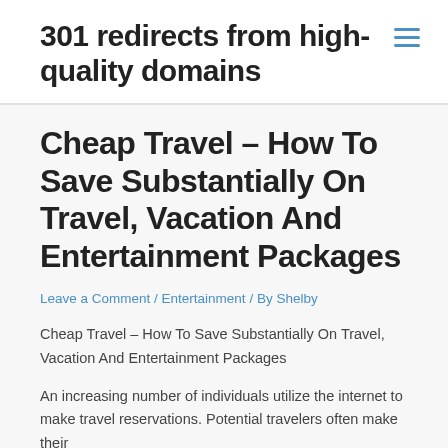301 redirects from high-quality domains
Cheap Travel – How To Save Substantially On Travel, Vacation And Entertainment Packages
Leave a Comment / Entertainment / By Shelby
Cheap Travel – How To Save Substantially On Travel, Vacation And Entertainment Packages
An increasing number of individuals utilize the internet to make travel reservations. Potential travelers often make their